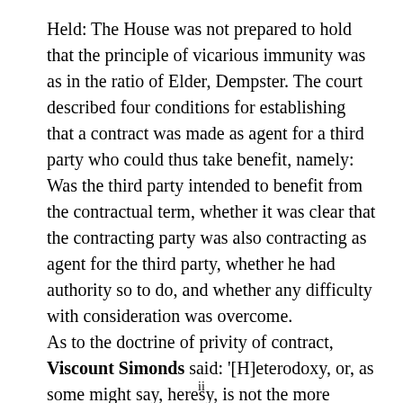Held: The House was not prepared to hold that the principle of vicarious immunity was as in the ratio of Elder, Dempster. The court described four conditions for establishing that a contract was made as agent for a third party who could thus take benefit, namely: Was the third party intended to benefit from the contractual term, whether it was clear that the contracting party was also contracting as agent for the third party, whether he had authority so to do, and whether any difficulty with consideration was overcome. As to the doctrine of privity of contract, Viscount Simonds said: '[H]eterodoxy, or, as some might say, heresy, is not the more attractive because it is dignified by the name of reform. . . . If the principle of jus quaesitum tertio is to be introduced into our law, it must be done by Parliament after a due
ii